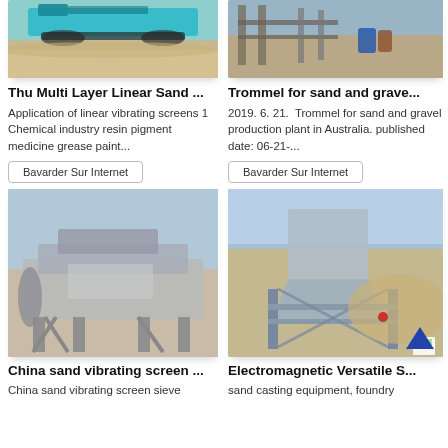[Figure (photo): Teal/blue mobile screening machine on sandy ground]
[Figure (photo): Industrial trommel/screening plant structure with pipes]
Thu Multi Layer Linear Sand ...
Trommel for sand and grave...
Application of linear vibrating screens 1 Chemical industry resin pigment medicine grease paint...
2019. 6. 21.  Trommel for sand and gravel production plant in Australia. published date: 06-21-...
Bavarder Sur Internet
Bavarder Sur Internet
[Figure (photo): Large sand vibrating screen sieve machine on elevated platform]
[Figure (photo): Electromagnetic versatile sand screening equipment in desert setting]
China sand vibrating screen ...
Electromagnetic Versatile S...
China sand vibrating screen sieve
sand casting equipment, foundry